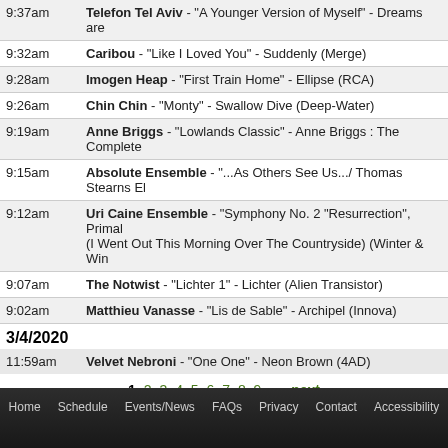| Time | Track |
| --- | --- |
| 9:37am | Telefon Tel Aviv - "A Younger Version of Myself" - Dreams are |
| 9:32am | Caribou - "Like I Loved You" - Suddenly (Merge) |
| 9:28am | Imogen Heap - "First Train Home" - Ellipse (RCA) |
| 9:26am | Chin Chin - "Monty" - Swallow Dive (Deep-Water) |
| 9:19am | Anne Briggs - "Lowlands Classic" - Anne Briggs : The Complete |
| 9:15am | Absolute Ensemble - "...As Others See Us.../ Thomas Stearns El |
| 9:12am | Uri Caine Ensemble - "Symphony No. 2 "Resurrection", Primal (I Went Out This Morning Over The Countryside) (Winter & Win |
| 9:07am | The Notwist - "Lichter 1" - Lichter (Alien Transistor) |
| 9:02am | Matthieu Vanasse - "Lis de Sable" - Archipel (Innova) |
3/4/2020
| Time | Track |
| --- | --- |
| 11:59am | Velvet Nebroni - "One One" - Neon Brown (4AD) |
1 2 3 4 5 6 7 8 9 … next
Home  Schedule  Events/News  FAQs  Privacy  Contact  Accessibility